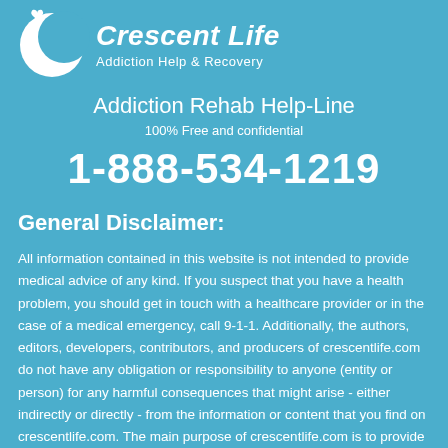[Figure (logo): Crescent Life Addiction Help & Recovery logo with crescent moon icon and cursive brand name]
Addiction Rehab Help-Line
100% Free and confidential
1-888-534-1219
General Disclaimer:
All information contained in this website is not intended to provide medical advice of any kind. If you suspect that you have a health problem, you should get in touch with a healthcare provider or in the case of a medical emergency, call 9-1-1. Additionally, the authors, editors, developers, contributors, and producers of crescentlife.com do not have any obligation or responsibility to anyone (entity or person) for any harmful consequences that might arise - either indirectly or directly - from the information or content that you find on crescentlife.com. The main purpose of crescentlife.com is to provide addiction education and treatment resources.